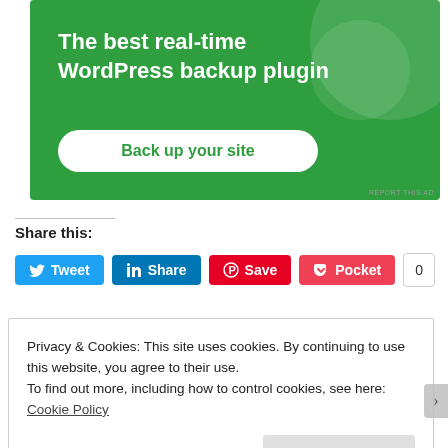[Figure (screenshot): Green advertisement banner for a WordPress backup plugin. Text reads: 'The best real-time WordPress backup plugin' with a white button 'Back up your site'. Small 'REPORT THIS AD' text at bottom right.]
Share this:
[Figure (screenshot): Social sharing buttons row: Tweet (blue Twitter), Share (blue LinkedIn), Save (red Pinterest), Pocket (red), and a count badge showing 0.]
Privacy & Cookies: This site uses cookies. By continuing to use this website, you agree to their use.
To find out more, including how to control cookies, see here: Cookie Policy
Close and accept